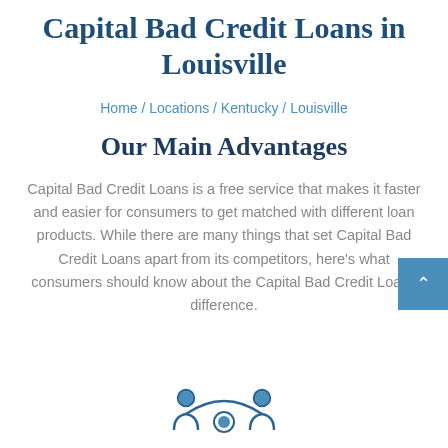Capital Bad Credit Loans in Louisville
Home / Locations / Kentucky / Louisville
Our Main Advantages
Capital Bad Credit Loans is a free service that makes it faster and easier for consumers to get matched with different loan products. While there are many things that set Capital Bad Credit Loans apart from its competitors, here’s what consumers should know about the Capital Bad Credit Loans difference.
[Figure (illustration): Icon showing two people figures connected by an arch, representing loan matching service]